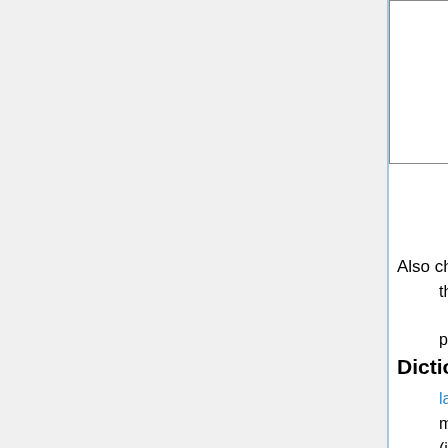| and try talking to other Lojbanists when they appear there. Try asking them questions. | [image: dark screenshot with x1, |selbri|, x2, x3, sumb...] |
«Lessons in Lojban» by D. Lacewell
Also check out:
the translation of 'Alice in Wonderland' by xorxes with a parallel text in English.
Dictionaries
la sutysisku is an online multilingual Lojban dictionary (including English) that also works offline. la vlasisku is an alternative for English speakers only that is regularly updated.